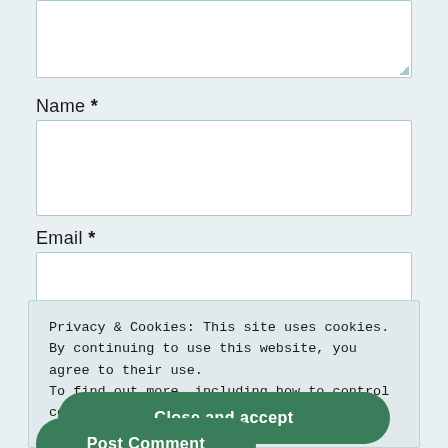[Figure (screenshot): Textarea input box (top, partially shown) with resize handle in bottom-right corner]
Name *
[Figure (screenshot): Name input field (empty white rectangle)]
Email *
[Figure (screenshot): Email input field (empty white rectangle)]
Privacy & Cookies: This site uses cookies. By continuing to use this website, you agree to their use.
To find out more, including how to control cookies, see here: Cookie Policy
Close and accept
Post Comment